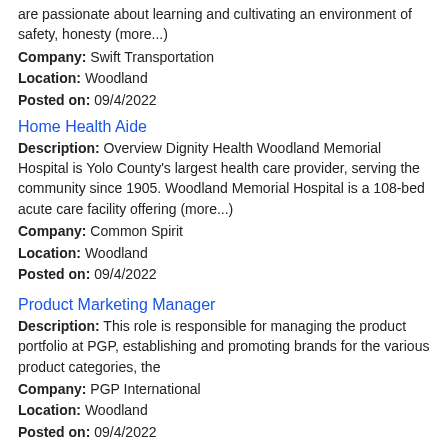are passionate about learning and cultivating an environment of safety, honesty (more...)
Company: Swift Transportation
Location: Woodland
Posted on: 09/4/2022
Home Health Aide
Description: Overview Dignity Health Woodland Memorial Hospital is Yolo County's largest health care provider, serving the community since 1905. Woodland Memorial Hospital is a 108-bed acute care facility offering (more...)
Company: Common Spirit
Location: Woodland
Posted on: 09/4/2022
Product Marketing Manager
Description: This role is responsible for managing the product portfolio at PGP, establishing and promoting brands for the various product categories, the
Company: PGP International
Location: Woodland
Posted on: 09/4/2022
Home Health Aide